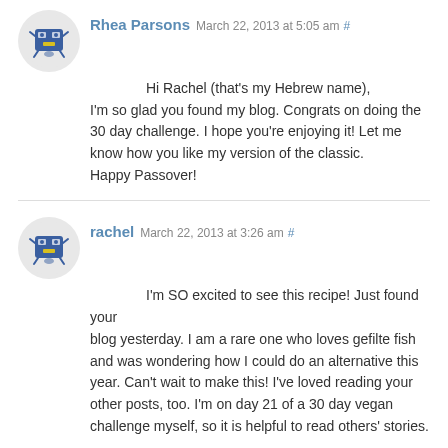Rhea Parsons March 22, 2013 at 5:05 am #
Hi Rachel (that's my Hebrew name),
I'm so glad you found my blog. Congrats on doing the 30 day challenge. I hope you're enjoying it! Let me know how you like my version of the classic.
Happy Passover!
rachel March 22, 2013 at 3:26 am #
I'm SO excited to see this recipe! Just found your blog yesterday. I am a rare one who loves gefilte fish and was wondering how I could do an alternative this year. Can't wait to make this! I've loved reading your other posts, too. I'm on day 21 of a 30 day vegan challenge myself, so it is helpful to read others' stories.